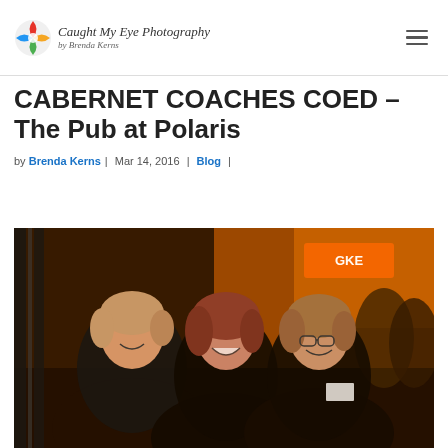Caught My Eye Photography by Brenda Kerns
CABERNET COACHES COED – The Pub at Polaris
by Brenda Kerns | Mar 14, 2016 | Blog |
[Figure (photo): Three smiling women posing together at what appears to be a bar or pub event with colorful lights in the background]